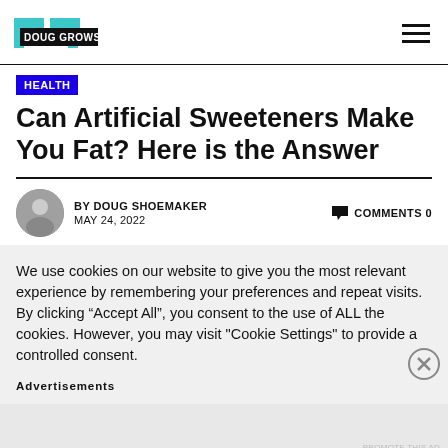DOUG GROWS
HEALTH
Can Artificial Sweeteners Make You Fat? Here is the Answer
BY DOUG SHOEMAKER
MAY 24, 2022
COMMENTS 0
We use cookies on our website to give you the most relevant experience by remembering your preferences and repeat visits. By clicking “Accept All”, you consent to the use of ALL the cookies. However, you may visit "Cookie Settings" to provide a controlled consent.
Advertisements